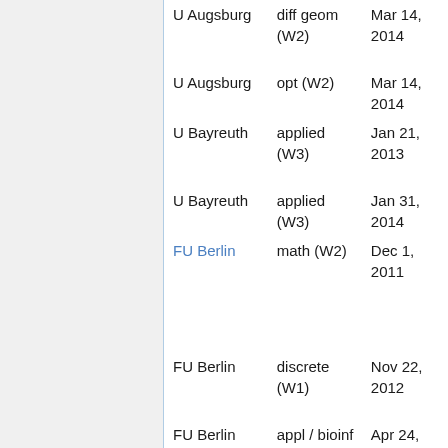| Institution | Type | Date |
| --- | --- | --- |
| U Augsburg | diff geom (W2) | Mar 14, 2014 |
| U Augsburg | opt (W2) | Mar 14, 2014 |
| U Bayreuth | applied (W3) | Jan 21, 2013 |
| U Bayreuth | applied (W3) | Jan 31, 2014 |
| FU Berlin | math (W2) | Dec 1, 2011 |
| FU Berlin | discrete (W1) | Nov 22, 2012 |
| FU Berlin | appl / bioinf (W1) | Apr 24, 2013 |
| FU Berlin | appl / bioinf (W1) | May 16, 2013 |